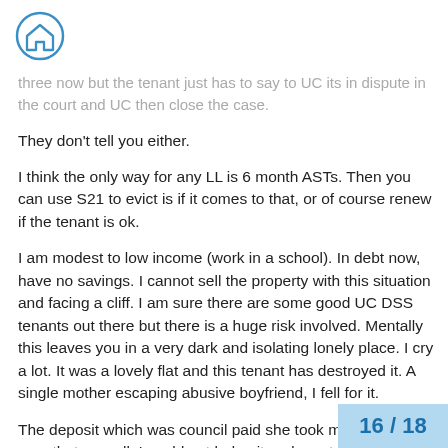[Figure (illustration): Home icon — a house symbol inside a blue circle outline]
three now but the tenant just has to say to UC its in dispute in the court and UC then close the case.
They don't tell you either.
I think the only way for any LL is 6 month ASTs. Then you can use S21 to evict is if it comes to that, or of course renew if the tenant is ok.
I am modest to low income (work in a school). In debt now, have no savings. I cannot sell the property with this situation and facing a cliff. I am sure there are some good UC DSS tenants out there but there is a huge risk involved. Mentally this leaves you in a very dark and isolating lonely place. I cry a lot. It was a lovely flat and this tenant has destroyed it. A single mother escaping abusive boyfriend, I fell for it.
The deposit which was council paid she took me to court over that as well. I could not lodge it and meet t requirements so tried dialogue with the dep
16 / 18